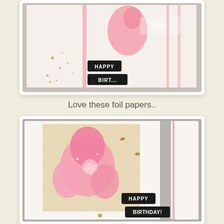[Figure (photo): Close-up of a handmade birthday card with pink flamingo, glitter, gold foil dots, and black HAPPY BIRTHDAY label tags on white background]
Love these foil papers..
[Figure (photo): Close-up of a handmade birthday card featuring large pink flower embellishments on geometric gold foil paper, with black HAPPY BIRTHDAY label tags]
And all those little beads...
[Figure (photo): Partially visible handmade card at bottom of page]